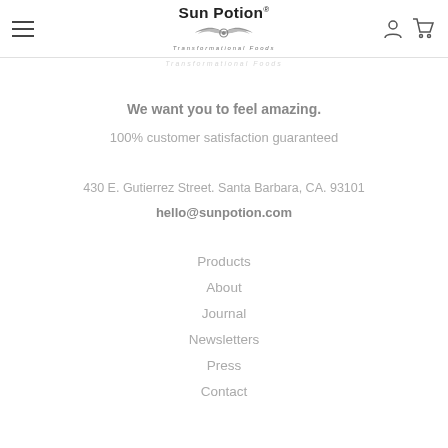Sun Potion Transformational Foods — header with hamburger menu, logo, user and cart icons
We want you to feel amazing.
100% customer satisfaction guaranteed
430 E. Gutierrez Street. Santa Barbara, CA. 93101
hello@sunpotion.com
Products
About
Journal
Newsletters
Press
Contact